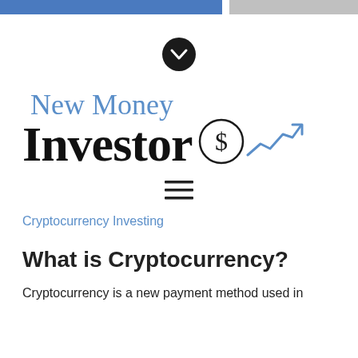[Figure (logo): New Money Investor logo with dollar sign in circle and blue upward trending arrow/line chart icon]
[Figure (other): Hamburger menu icon (three horizontal lines)]
Cryptocurrency Investing
What is Cryptocurrency?
Cryptocurrency is a new payment method used in